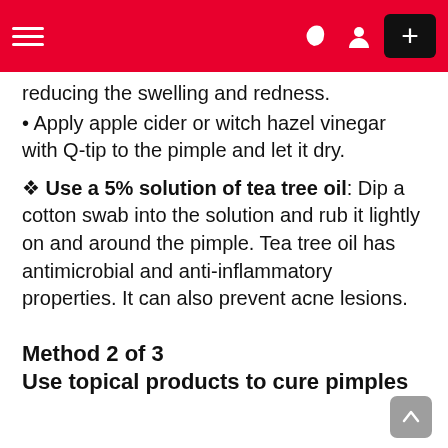≡  ) ⊙  +
reducing the swelling and redness.
• Apply apple cider or witch hazel vinegar with Q-tip to the pimple and let it dry.
✦ Use a 5% solution of tea tree oil: Dip a cotton swab into the solution and rub it lightly on and around the pimple. Tea tree oil has antimicrobial and anti-inflammatory properties. It can also prevent acne lesions.
Method 2 of 3
Use topical products to cure pimples